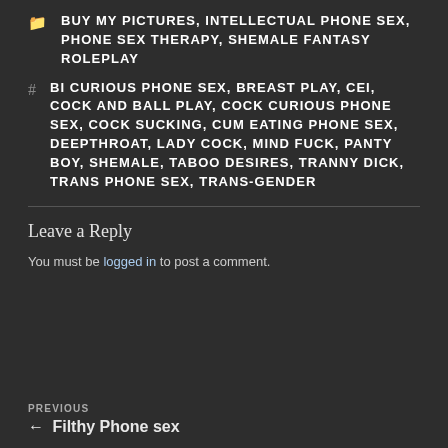BUY MY PICTURES, INTELLECTUAL PHONE SEX, PHONE SEX THERAPY, SHEMALE FANTASY ROLEPLAY
BI CURIOUS PHONE SEX, BREAST PLAY, CEI, COCK AND BALL PLAY, COCK CURIOUS PHONE SEX, COCK SUCKING, CUM EATING PHONE SEX, DEEPTHROAT, LADY COCK, MIND FUCK, PANTY BOY, SHEMALE, TABOO DESIRES, TRANNY DICK, TRANS PHONE SEX, TRANS-GENDER
Leave a Reply
You must be logged in to post a comment.
PREVIOUS
← Filthy Phone sex